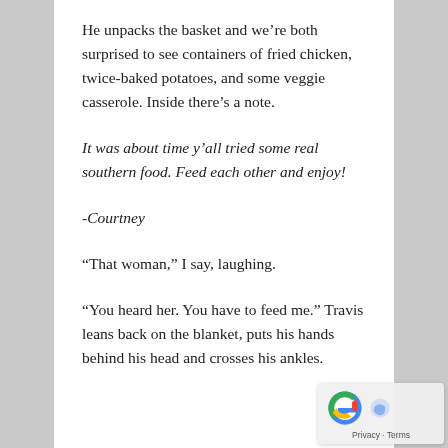He unpacks the basket and we're both surprised to see containers of fried chicken, twice-baked potatoes, and some veggie casserole. Inside there's a note.
It was about time y'all tried some real southern food. Feed each other and enjoy!
-Courtney
“That woman,” I say, laughing.
“You heard her. You have to feed me.” Travis leans back on the blanket, puts his hands behind his head and crosses his ankles.